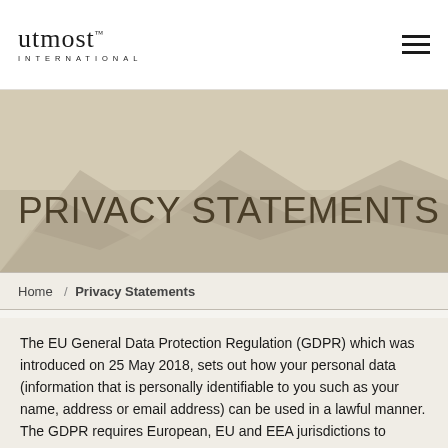[Figure (logo): Utmost International logo with serif wordmark and 'INTERNATIONAL' subtitle in uppercase tracking]
Utmost International / hamburger menu navigation
PRIVACY STATEMENTS
Home / Privacy Statements
The EU General Data Protection Regulation (GDPR) which was introduced on 25 May 2018, sets out how your personal data (information that is personally identifiable to you such as your name, address or email address) can be used in a lawful manner. The GDPR requires European, EU and EEA jurisdictions to implement and